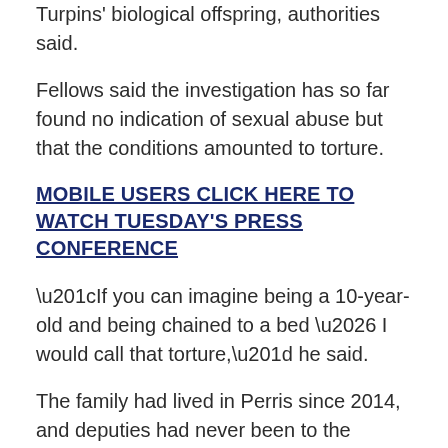Turpins' biological offspring, authorities said.
Fellows said the investigation has so far found no indication of sexual abuse but that the conditions amounted to torture.
MOBILE USERS CLICK HERE TO WATCH TUESDAY'S PRESS CONFERENCE
“If you can imagine being a 10-year-old and being chained to a bed … I would call that torture,” he said.
The family had lived in Perris since 2014, and deputies had never been to the residence previously for any reason, Fellows said.
Social workers had never visited either, said Susan von Zabern, director of the county Department of Public Social Services.